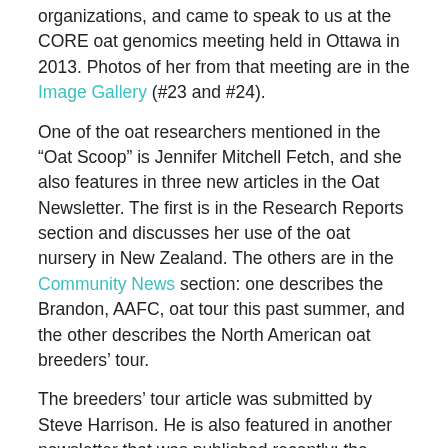organizations, and came to speak to us at the CORE oat genomics meeting held in Ottawa in 2013. Photos of her from that meeting are in the Image Gallery (#23 and #24).
One of the oat researchers mentioned in the “Oat Scoop” is Jennifer Mitchell Fetch, and she also features in three new articles in the Oat Newsletter. The first is in the Research Reports section and discusses her use of the oat nursery in New Zealand. The others are in the Community News section: one describes the Brandon, AAFC, oat tour this past summer, and the other describes the North American oat breeders’ tour.
The breeders’ tour article was submitted by Steve Harrison. He is also featured in another newsletter that was published recently: the 2015 Louisiana Soybean and Grain Research and Promotion Board Report.
There is one more new story in our Community News section, and it describes the annual ECORC, AAFC oat tour that was held in Ottawa in July. (Neither Steve nor Jennifer was there, but Bruce Roskens attended the tours in both Brandon and Ottawa!) This article also appeared in AAFC’s Science and Technology